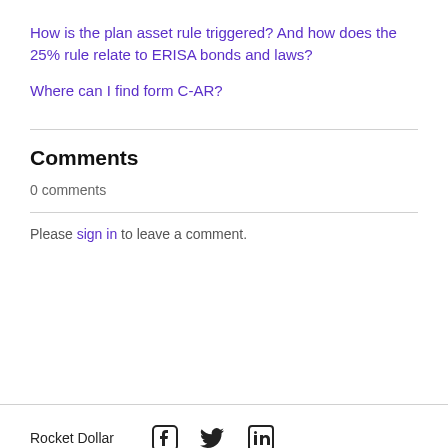How is the plan asset rule triggered? And how does the 25% rule relate to ERISA bonds and laws?
Where can I find form C-AR?
Comments
0 comments
Please sign in to leave a comment.
Rocket Dollar